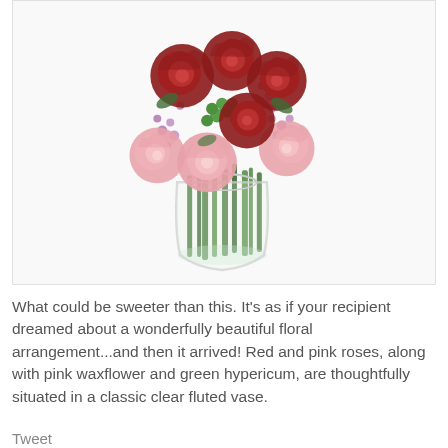[Figure (photo): A floral arrangement in a clear glass vase containing red and pink roses, pink waxflower, and green hypericum berries, on a white background.]
What could be sweeter than this. It's as if your recipient dreamed about a wonderfully beautiful floral arrangement...and then it arrived! Red and pink roses, along with pink waxflower and green hypericum, are thoughtfully situated in a classic clear fluted vase.
Tweet